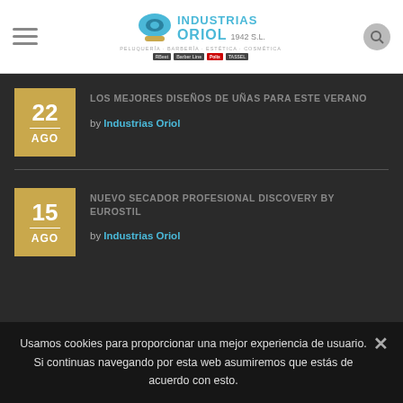Industrias Oriol 1942 S.L. — Peluquería · Barbería · Estética · Cosmética
LOS MEJORES DISEÑOS DE UÑAS PARA ESTE VERANO
22 AGO by Industrias Oriol
NUEVO SECADOR PROFESIONAL DISCOVERY BY EUROSTIL
15 AGO by Industrias Oriol
Usamos cookies para proporcionar una mejor experiencia de usuario. Si continuas navegando por esta web asumiremos que estás de acuerdo con esto.